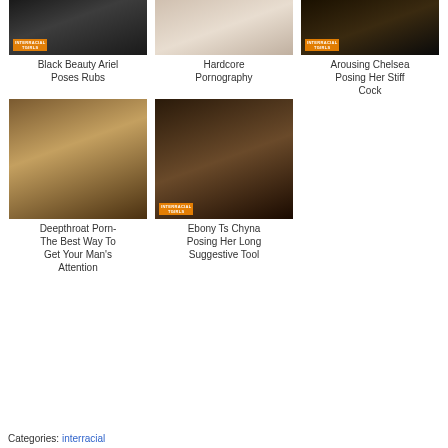[Figure (photo): Thumbnail image of Black Beauty Ariel with dark fishnet outfit]
[Figure (photo): Thumbnail image for Hardcore Pornography]
[Figure (photo): Thumbnail image for Arousing Chelsea with heels]
Black Beauty Ariel Poses Rubs
Hardcore Pornography
Arousing Chelsea Posing Her Stiff Cock
[Figure (photo): Thumbnail image for Deepthroat Porn cheerleader scene]
[Figure (photo): Thumbnail image for Ebony Ts Chyna posing with book]
Deepthroat Porn- The Best Way To Get Your Man’s Attention
Ebony Ts Chyna Posing Her Long Suggestive Tool
Categories: interracial